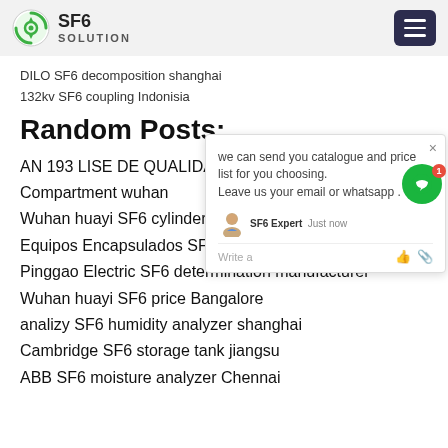SF6 SOLUTION
DILO SF6 decomposition shanghai
132kv SF6 coupling Indonisia
Random Posts:
AN 193 LISE DE QUALIDADE DO G 19
Compartment wuhan
Wuhan huayi SF6 cylinder Nuclear Pow
Equipos Encapsulados SF6 moisture mo
Pinggao Electric SF6 determination manufacturer
Wuhan huayi SF6 price Bangalore
analizy SF6 humidity analyzer shanghai
Cambridge SF6 storage tank jiangsu
ABB SF6 moisture analyzer Chennai